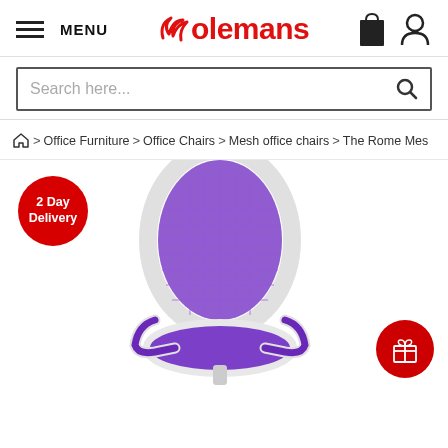MENU | Colemans | [cart] [user]
Search here...
Home > Office Furniture > Office Chairs > Mesh office chairs > The Rome Mes
[Figure (photo): Purple mesh office chair with white frame and flip-up armrests on a white background. Red '2 Day Delivery' badge in top left. Red gift icon badge in bottom right.]